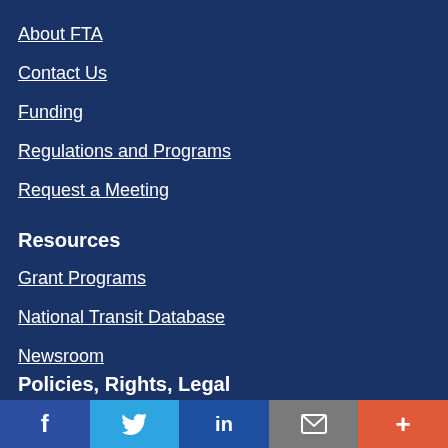About FTA
Contact Us
Funding
Regulations and Programs
Request a Meeting
Resources
Grant Programs
National Transit Database
Newsroom
Policies, Rights, Legal
Facebook Twitter LinkedIn Email More